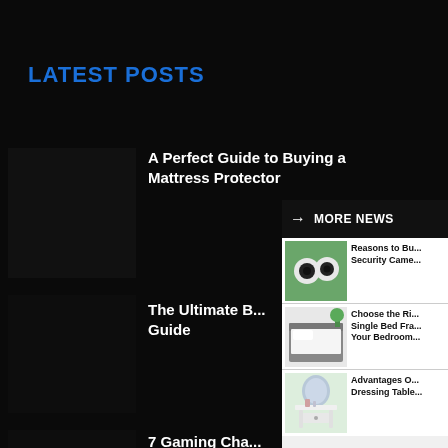LATEST POSTS
A Perfect Guide to Buying a Mattress Protector
MORE NEWS
The Ultimate B... Guide
7 Gaming Cha... Die-Hard Gam...
[Figure (screenshot): News sidebar with three items: security cameras image with text 'Reasons to Bu... Security Came...', bed frame image with text 'Choose the Ri... Single Bed Fra... Your Bedroom...', dressing table image with text 'Advantages O... Dressing Table...']
Reasons to Bu... Security Came...
Choose the Ri... Single Bed Fra... Your Bedroom...
Advantages O... Dressing Table...